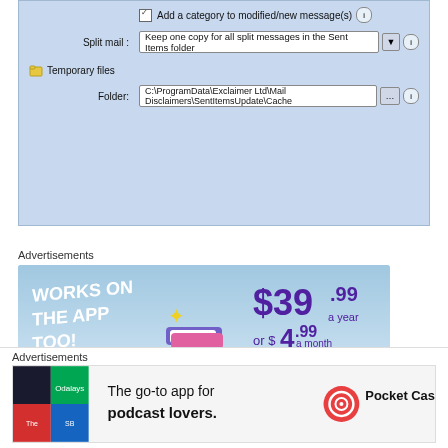[Figure (screenshot): Software settings panel with light blue background showing Split mail dropdown field set to 'Keep one copy for all split messages in the Sent Items folder', a Temporary files section header with folder icon, and a Folder field showing 'C:\ProgramData\Exclaimer Ltd\Mail Disclaimers\SentItemsUpdate\Cache']
Advertisements
[Figure (photo): Tumblr Ad-Free Browsing advertisement showing Tumblr logo with sparkles, pricing '$39.99 a year or $4.99 a month + FREE SHIPPING', 'WORKS ON THE APP TOO!' text, and 'TUMBLR AD-FREE BROWSING' at the bottom]
Advertisements
[Figure (photo): Pocket Casts advertisement showing 'The go-to app for podcast lovers.' with the Pocket Casts logo and colorful app icon tiles on the left]